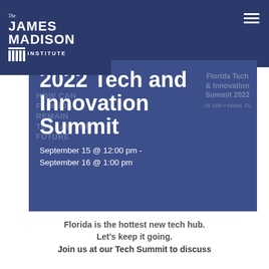[Figure (logo): The James Madison Institute logo with column icon and text]
2022 Tech and Innovation Summit
September 15 @ 12:00 pm - September 16 @ 1:00 pm
Florida is the hottest new tech hub. Let's keep it going. Join us at our Tech Summit to discuss